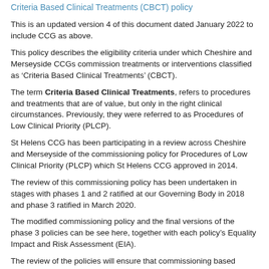Criteria Based Clinical Treatments (CBCT) policy
This is an updated version 4 of this document dated January 2022 to include CCG as above.
This policy describes the eligibility criteria under which Cheshire and Merseyside CCGs commission treatments or interventions classified as ‘Criteria Based Clinical Treatments’ (CBCT).
The term Criteria Based Clinical Treatments, refers to procedures and treatments that are of value, but only in the right clinical circumstances. Previously, they were referred to as Procedures of Low Clinical Priority (PLCP).
St Helens CCG has been participating in a review across Cheshire and Merseyside of the commissioning policy for Procedures of Low Clinical Priority (PLCP) which St Helens CCG approved in 2014.
The review of this commissioning policy has been undertaken in stages with phases 1 and 2 ratified at our Governing Body in 2018 and phase 3 ratified in March 2020.
The modified commissioning policy and the final versions of the phase 3 policies can be see here, together with each policy's Equality Impact and Risk Assessment (EIA).
The review of the policies will ensure that commissioning based...